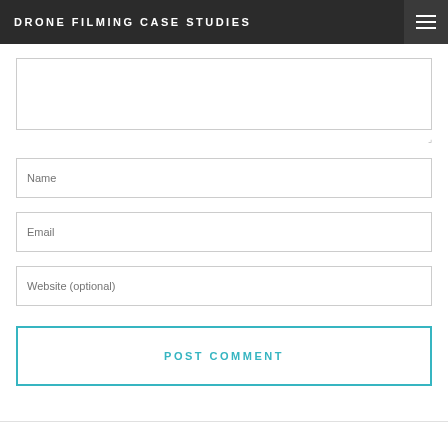DRONE FILMING CASE STUDIES
[Figure (screenshot): Textarea input field for comment, partially visible at top]
Name
Email
Website (optional)
POST COMMENT